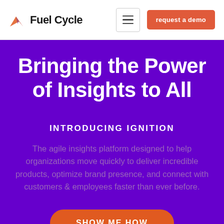[Figure (logo): Fuel Cycle logo with geometric mountain/arrow icon in orange and red, followed by text 'Fuel Cycle']
[Figure (other): Hamburger menu icon (three horizontal lines) inside a bordered square button]
request a demo
Bringing the Power of Insights to All
INTRODUCING IGNITION
The agile insights platform designed to help organizations move quickly to deliver incredible products, optimize brand presence, and connect with customers & employees faster than ever before.
SHOW ME HOW